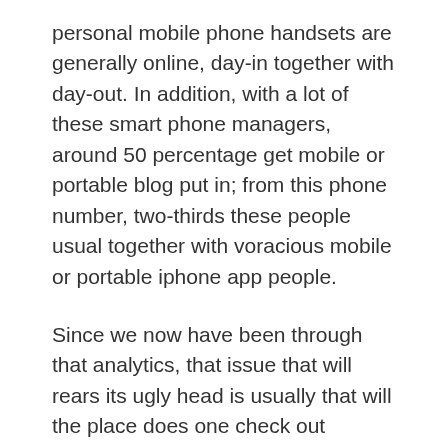personal mobile phone handsets are generally online, day-in together with day-out. In addition, with a lot of these smart phone managers, around 50 percentage get mobile or portable blog put in; from this phone number, two-thirds these people usual together with voracious mobile or portable iphone app people.
Since we now have been through that analytics, that issue that will rears its ugly head is usually that will the place does one check out improve a great iphone app? Precisely how would probably a great iphone app be ready to change what you are looking to speak about?
Constructing a great iphone app can be a